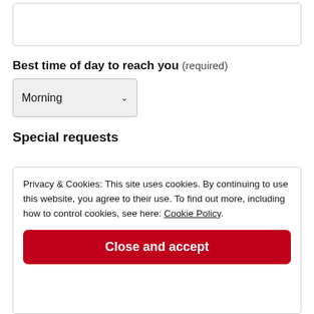[Figure (screenshot): Empty text input box with rounded border]
Best time of day to reach you (required)
[Figure (screenshot): Dropdown select box showing 'Morning' with a down arrow]
Special requests
Privacy & Cookies: This site uses cookies. By continuing to use this website, you agree to their use. To find out more, including how to control cookies, see here: Cookie Policy
Close and accept